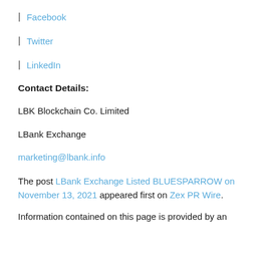| Facebook
| Twitter
| LinkedIn
Contact Details:
LBK Blockchain Co. Limited
LBank Exchange
marketing@lbank.info
The post LBank Exchange Listed BLUESPARROW on November 13, 2021 appeared first on Zex PR Wire.
Information contained on this page is provided by an